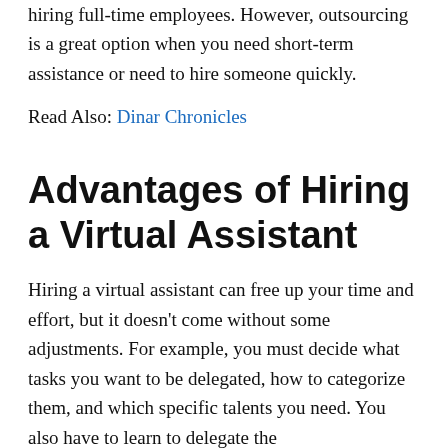of your business. Many businesses don't have the luxury of hiring full-time employees. However, outsourcing is a great option when you need short-term assistance or need to hire someone quickly.
Read Also: Dinar Chronicles
Advantages of Hiring a Virtual Assistant
Hiring a virtual assistant can free up your time and effort, but it doesn't come without some adjustments. For example, you must decide what tasks you want to be delegated, how to categorize them, and which specific talents you need. You also have to learn to delegate the